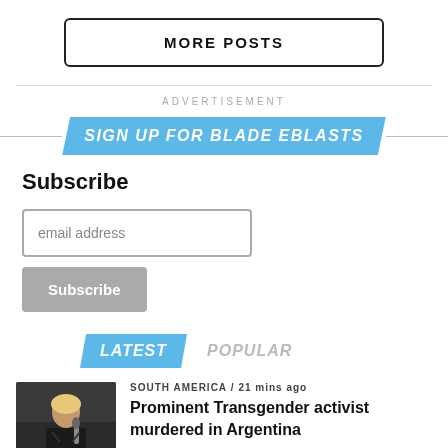MORE POSTS
ADVERTISEMENT
SIGN UP FOR BLADE EBLASTS
Subscribe
email address
Subscribe
LATEST
POPULAR
SOUTH AMERICA / 21 mins ago
Prominent Transgender activist murdered in Argentina
[Figure (photo): Person holding a microphone at what appears to be an event or rally, shown against a dark background.]